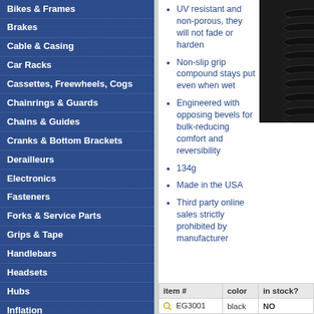Bikes & Frames
Brakes
Cable & Casing
Car Racks
Cassettes, Freewheels, Cogs
Chainrings & Guards
Chains & Guides
Cranks & Bottom Brackets
Derailleurs
Electronics
Fasteners
Forks & Service Parts
Grips & Tape
Handlebars
Headsets
Hubs
Inflation
Lights
Locks
Maintenance Products
Merchandising
Nutrition & Wellness
Pedals
Rear Shocks & Service Parts
UV resistant and non-porous, they will not fade or harden
Non-slip grip compound stays put even when wet
Engineered with opposing bevels for bulk-reducing comfort and reversibility
134g
Made in the USA
Third party online sales strictly prohibited by manufacturer
[Figure (photo): Black handlebar tape/grip product shown rolled up, top right]
| item # | color | in stock? |
| --- | --- | --- |
| EG3001 | black | NO |